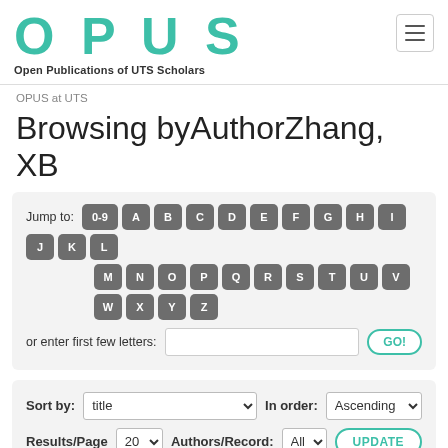OPUS – Open Publications of UTS Scholars
OPUS at UTS
Browsing byAuthorZhang, XB
Jump to: 0-9 A B C D E F G H I J K L M N O P Q R S T U V W X Y Z or enter first few letters: [input] GO!
Sort by: title  In order: Ascending  Results/Page 20  Authors/Record: All  UPDATE